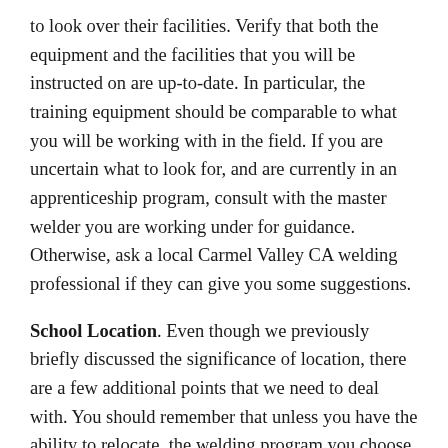to look over their facilities. Verify that both the equipment and the facilities that you will be instructed on are up-to-date. In particular, the training equipment should be comparable to what you will be working with in the field. If you are uncertain what to look for, and are currently in an apprenticeship program, consult with the master welder you are working under for guidance. Otherwise, ask a local Carmel Valley CA welding professional if they can give you some suggestions.
School Location. Even though we previously briefly discussed the significance of location, there are a few additional points that we need to deal with. You should remember that unless you have the ability to relocate, the welding program you choose needs to be within commuting distance of your Carmel Valley CA home. If you do choose to attend an out-of-state school, apart from relocation costs there may be higher tuition fees for out-of-state residents. This is particularly the case for